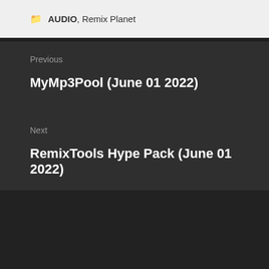AUDIO, Remix Planet
Previous
MyMp3Pool (June 01 2022)
Next
RemixTools Hype Pack (June 01 2022)
June 2022